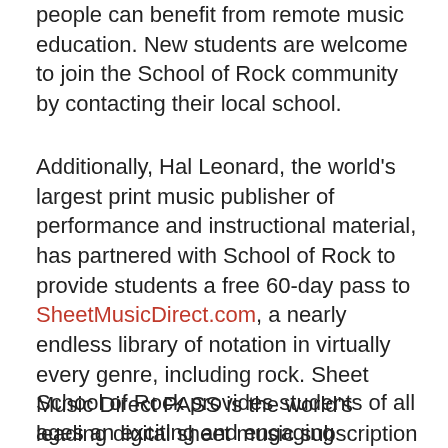people can benefit from remote music education. New students are welcome to join the School of Rock community by contacting their local school.
Additionally, Hal Leonard, the world's largest print music publisher of performance and instructional material, has partnered with School of Rock to provide students a free 60-day pass to SheetMusicDirect.com, a nearly endless library of notation in virtually every genre, including rock. Sheet Music Direct PASS is the world's leading digital sheet music subscription service.
School of Rock provides students of all ages an exciting and engaging